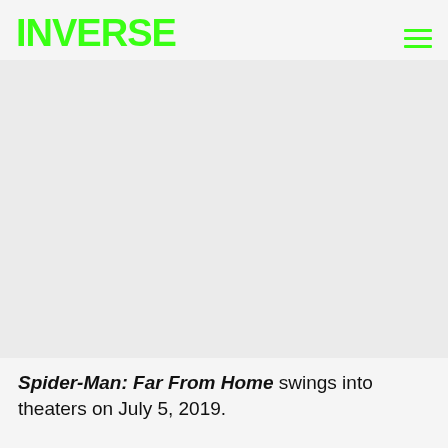ADVERTISEMENT
INVERSE
[Figure (other): Advertisement placeholder area (blank grey rectangle)]
Spider-Man: Far From Home swings into theaters on July 5, 2019.